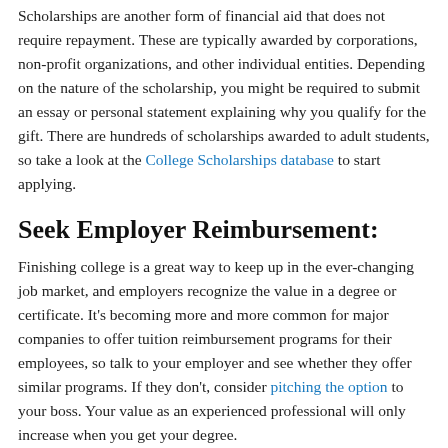Scholarships are another form of financial aid that does not require repayment. These are typically awarded by corporations, non-profit organizations, and other individual entities. Depending on the nature of the scholarship, you might be required to submit an essay or personal statement explaining why you qualify for the gift. There are hundreds of scholarships awarded to adult students, so take a look at the College Scholarships database to start applying.
Seek Employer Reimbursement:
Finishing college is a great way to keep up in the ever-changing job market, and employers recognize the value in a degree or certificate. It's becoming more and more common for major companies to offer tuition reimbursement programs for their employees, so talk to your employer and see whether they offer similar programs. If they don't, consider pitching the option to your boss. Your value as an experienced professional will only increase when you get your degree.